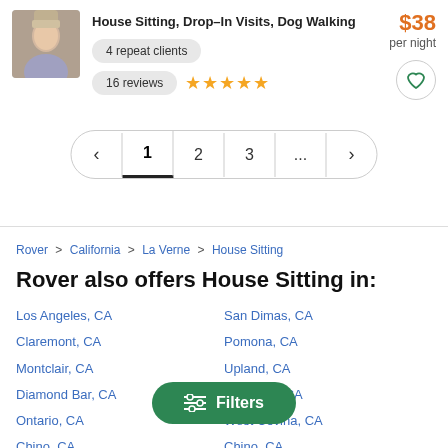[Figure (photo): Profile photo of a person wearing a light-colored top]
House Sitting, Drop-In Visits, Dog Walking
$38 per night
4 repeat clients
16 reviews ★★★★★
Pagination: < 1 2 3 ... >
Rover > California > La Verne > House Sitting
Rover also offers House Sitting in:
Los Angeles, CA
San Dimas, CA
Claremont, CA
Pomona, CA
Montclair, CA
Upland, CA
Diamond Bar, CA
Glendora, CA
Ontario, CA
West Covina, CA
Chino, CA
Filters